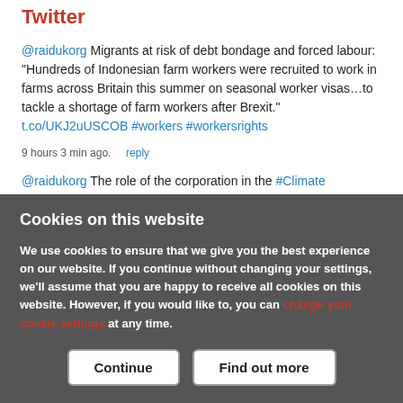Twitter
@raidukorg Migrants at risk of debt bondage and forced labour: “Hundreds of Indonesian farm workers were recruited to work in farms across Britain this summer on seasonal worker visas…to tackle a shortage of farm workers after Brexit.” t.co/UKJ2uUSCOB #workers #workersrights
9 hours 3 min ago.   reply
@raidukorg The role of the corporation in the #Climate Emergency… already started. The investigation…
Cookies on this website
We use cookies to ensure that we give you the best experience on our website. If you continue without changing your settings, we’ll assume that you are happy to receive all cookies on this website. However, if you would like to, you can change your cookie settings at any time.
Continue   Find out more